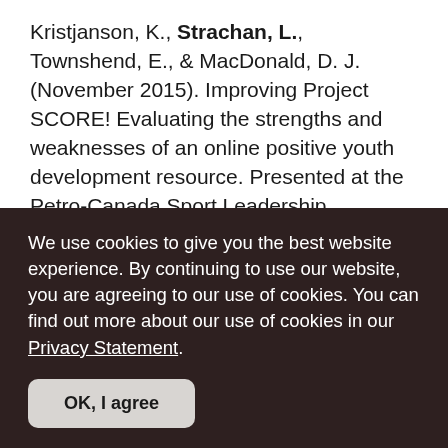Kristjanson, K., Strachan, L., Townshend, E., & MacDonald, D. J. (November 2015). Improving Project SCORE! Evaluating the strengths and weaknesses of an online positive youth development resource. Presented at the Petro-Canada Sport Leadership conference, Winnipeg, MB.
Strachan, L., MacDonald, D. J., & Côté, J. (October 2015). Project SCORE! A deliberate approach to teaching positive youth development through sport. Presented at Sport Canada Research Initiative
We use cookies to give you the best website experience. By continuing to use our website, you are agreeing to our use of cookies. You can find out more about our use of cookies in our Privacy Statement.
OK, I agree